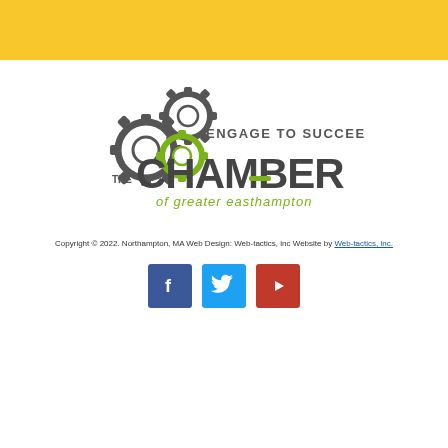[Figure (other): Yellow header bar]
[Figure (logo): The Chamber of Greater Easthampton logo with gears and tagline 'Engage to Succeed']
Copyright © 2022. Northampton, MA Web Design: Web-tactics, inc Website by Web-tactics, inc.
[Figure (other): Social media icons: Facebook, Twitter, YouTube]